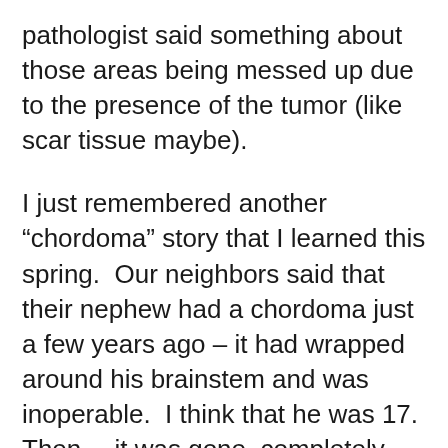pathologist said something about those areas being messed up due to the presence of the tumor (like scar tissue maybe).
I just remembered another “chordoma” story that I learned this spring.  Our neighbors said that their nephew had a chordoma just a few years ago – it had wrapped around his brainstem and was inoperable.  I think that he was 17.  Then… it was gone, completely.  They attribute it to a miracle and so do I.  There is no other explanation.  We go to different churches, but can we say that we are of different faiths?  I don’t really believe so.  We pray to the same God and we are all his children.  My sweet